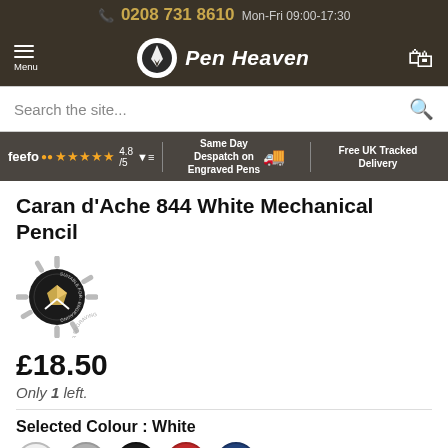📞 0208 731 8610  Mon-Fri 09:00-17:30
[Figure (logo): Pen Heaven logo with pen nib icon and italic bold white text 'Pen Heaven' on dark brown background, with hamburger menu on left and shopping bag icon on right]
Search the site...
feefo ★★★★★ 4.8/5  Same Day Despatch on Engraved Pens  Free UK Tracked Delivery
Caran d'Ache 844 White Mechanical Pencil
[Figure (illustration): Circular badge with gear/sun rays border and text 'SUITABLE FOR ENGRAVING', dark background with pen/pencil motif]
£18.50
Only 1 left.
Selected Colour : White
[Figure (illustration): Row of five colour swatches: white, silver/grey, black, red, navy blue]